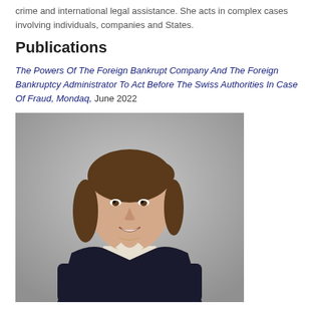crime and international legal assistance. She acts in complex cases involving individuals, companies and States.
Publications
The Powers Of The Foreign Bankrupt Company And The Foreign Bankruptcy Administrator To Act Before The Swiss Authorities In Case Of Fraud, Mondaq, June 2022
[Figure (photo): Professional headshot of a young woman with brown hair pulled back, wearing a dark blazer over a light top, smiling, against a grey background.]